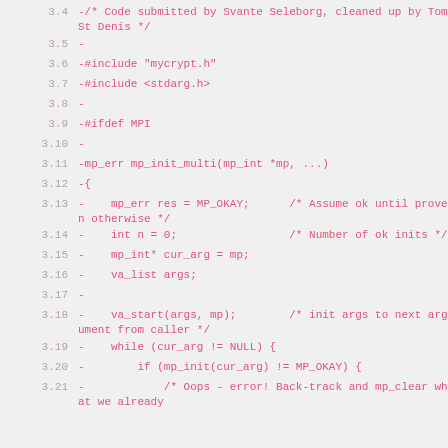[Figure (screenshot): Code diff snippet showing removed lines (prefixed with -) from a C source file, with line numbers 3.4 through 3.21. The code shows a function mp_init_multi and its internal variable declarations and logic.]
3.4  -/* Code submitted by Svante Seleborg, cleaned up by Tom St Denis */
3.5  -
3.6  -#include "mycrypt.h"
3.7  -#include <stdarg.h>
3.8  -
3.9  -#ifdef MPI
3.10 -
3.11 -mp_err mp_init_multi(mp_int *mp, ...)
3.12 -{
3.13 -    mp_err res = MP_OKAY;      /* Assume ok until proven otherwise */
3.14 -    int n = 0;                 /* Number of ok inits */
3.15 -    mp_int* cur_arg = mp;
3.16 -    va_list args;
3.17 -
3.18 -    va_start(args, mp);        /* init args to next argument from caller */
3.19 -    while (cur_arg != NULL) {
3.20 -        if (mp_init(cur_arg) != MP_OKAY) {
3.21 -            /* Oops - error! Back-track and mp_clear what we already